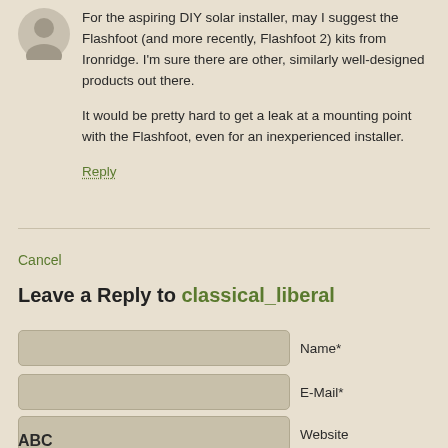[Figure (illustration): Gray avatar/profile picture silhouette icon]
For the aspiring DIY solar installer, may I suggest the Flashfoot (and more recently, Flashfoot 2) kits from Ironridge. I'm sure there are other, similarly well-designed products out there.

It would be pretty hard to get a leak at a mounting point with the Flashfoot, even for an inexperienced installer.
Reply
Cancel
Leave a Reply to classical_liberal
Name*
E-Mail*
Website
ABC